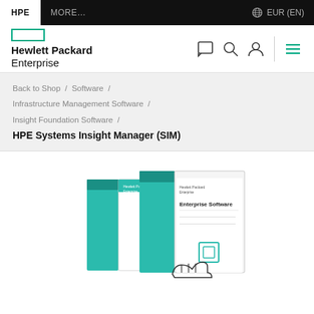HPE | MORE... | EUR (EN)
Hewlett Packard Enterprise
Back to Shop / Software / Infrastructure Management Software / Insight Foundation Software / HPE Systems Insight Manager (SIM)
[Figure (photo): HPE Enterprise Software product box — two software boxes with teal/green branding, text 'Enterprise Software', with a hand holding a box icon]